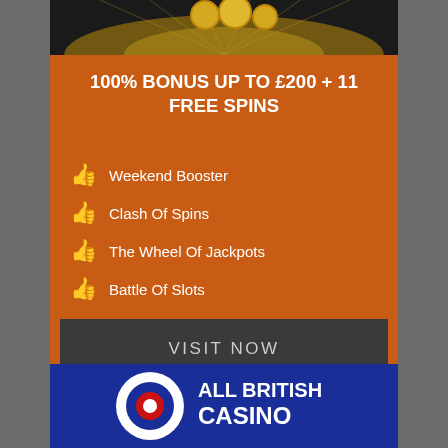[Figure (photo): Casino-themed banner image with dark background and gold coins/elements at top]
100% BONUS UP TO £200 + 11 FREE SPINS
👍 Weekend Booster
👍 Clash Of Spins
👍 The Wheel Of Jackpots
👍 Battle Of Slots
VISIT NOW
*Bonus T&C Applied
18+ BeGambleAware. Gamble Responsibly
[Figure (logo): All British Casino logo — dark blue background with circular target/roundel icon in white, blue, red and white text ALL BRITISH CASINO]